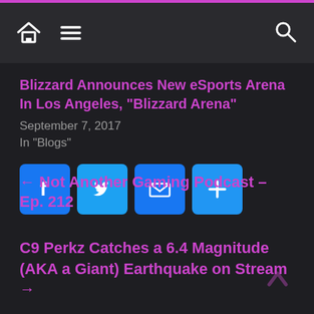Navigation bar with home, menu, and search icons
Blizzard Announces New eSports Arena In Los Angeles, “Blizzard Arena”
September 7, 2017
In "Blogs"
[Figure (other): Social share buttons: Facebook, Twitter, Email, More (+)]
← Not Another Gaming Podcast – Ep. 212
C9 Perkz Catches a 6.4 Magnitude (AKA a Giant) Earthquake on Stream →